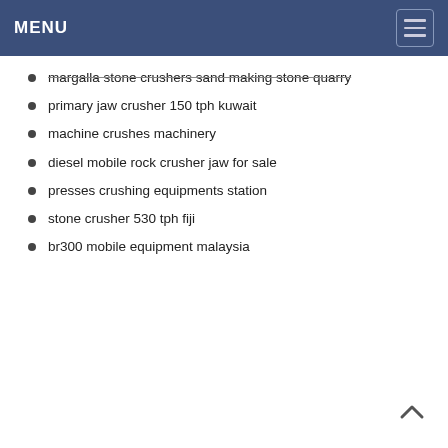MENU
margalla stone crushers sand making stone quarry
primary jaw crusher 150 tph kuwait
machine crushes machinery
diesel mobile rock crusher jaw for sale
presses crushing equipments station
stone crusher 530 tph fiji
br300 mobile equipment malaysia